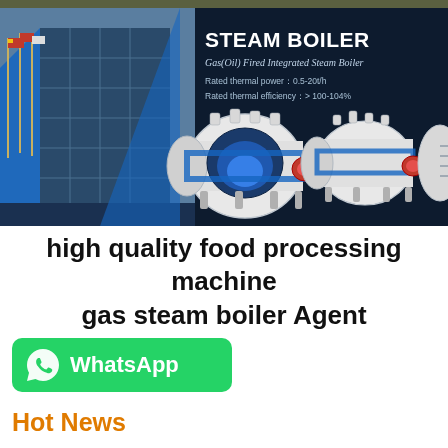[Figure (photo): Steam boiler product banner with dark navy background showing industrial steam boilers (gas/oil fired integrated steam boilers), a building with flags on the left, and product specifications text on the right.]
high quality food processing machine gas steam boiler Agent
[Figure (logo): WhatsApp button — green rounded rectangle with WhatsApp phone icon and text 'WhatsApp']
Hot News